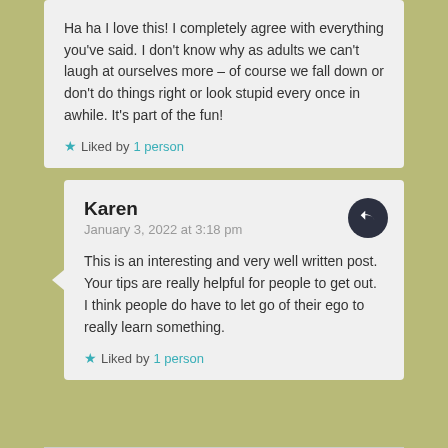Ha ha I love this! I completely agree with everything you've said. I don't know why as adults we can't laugh at ourselves more – of course we fall down or don't do things right or look stupid every once in awhile. It's part of the fun!
★ Liked by 1 person
Karen
January 3, 2022 at 3:18 pm
This is an interesting and very well written post. Your tips are really helpful for people to get out. I think people do have to let go of their ego to really learn something.
★ Liked by 1 person